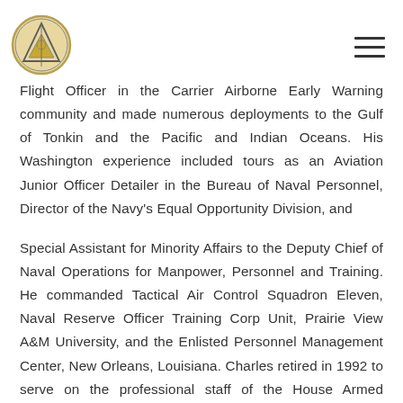[Logo] [Hamburger menu]
Flight Officer in the Carrier Airborne Early Warning community and made numerous deployments to the Gulf of Tonkin and the Pacific and Indian Oceans. His Washington experience included tours as an Aviation Junior Officer Detailer in the Bureau of Naval Personnel, Director of the Navy's Equal Opportunity Division, and
Special Assistant for Minority Affairs to the Deputy Chief of Naval Operations for Manpower, Personnel and Training. He commanded Tactical Air Control Squadron Eleven, Naval Reserve Officer Training Corp Unit, Prairie View A&M University, and the Enlisted Personnel Management Center, New Orleans, Louisiana. Charles retired in 1992 to serve on the professional staff of the House Armed Services Committee in the United States